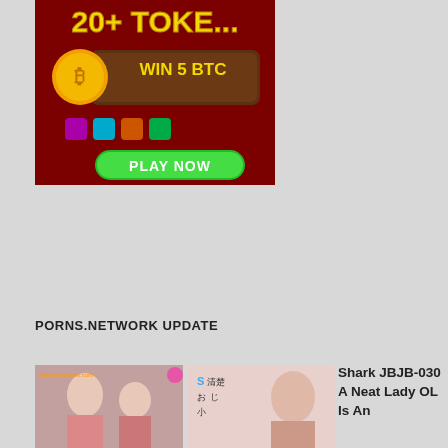[Figure (illustration): Advertisement banner showing a casino/gambling game with text '20+ TOKE...' at top, a Bitcoin coin icon with 'WIN 5 BTC' in brown sign, colorful game icons, and a green 'PLAY NOW' button]
PORNS.NETWORK UPDATE
[Figure (photo): Two thumbnail images side by side showing Japanese adult video cover art with Japanese text]
Shark JBJB-030 A Neat Lady OL Is An